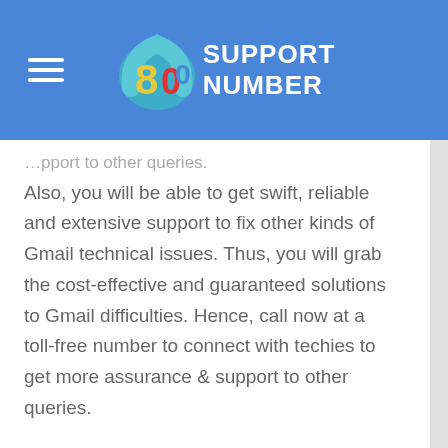800 SUPPORT NUMBER
Also, you will be able to get swift, reliable and extensive support to fix other kinds of Gmail technical issues. Thus, you will grab the cost-effective and guaranteed solutions to Gmail difficulties. Hence, call now at a toll-free number to connect with techies to get more assurance & support to other queries.